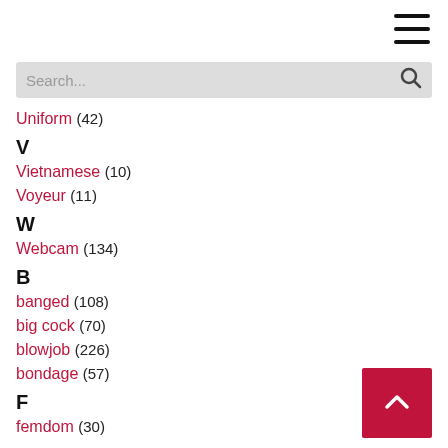Uniform (42)
V
Vietnamese (10)
Voyeur (11)
W
Webcam (134)
B
banged (108)
big cock (70)
blowjob (226)
bondage (57)
F
femdom (30)